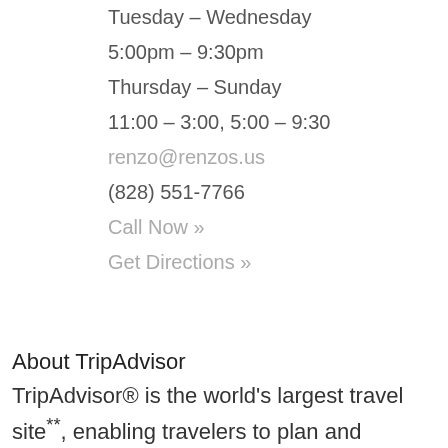Tuesday – Wednesday
5:00pm – 9:30pm
Thursday – Sunday
11:00 – 3:00, 5:00 – 9:30
renzo@renzos.us
(828) 551-7766
Call Now »
Get Directions »
About TripAdvisor
TripAdvisor® is the world's largest travel site**, enabling travelers to plan and